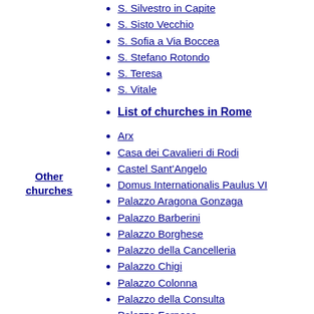S. Silvestro in Capite
S. Sisto Vecchio
S. Sofia a Via Boccea
S. Stefano Rotondo
S. Teresa
S. Vitale
Other churches
List of churches in Rome
Arx
Casa dei Cavalieri di Rodi
Castel Sant'Angelo
Domus Internationalis Paulus VI
Palazzo Aragona Gonzaga
Palazzo Barberini
Palazzo Borghese
Palazzo della Cancelleria
Palazzo Chigi
Palazzo Colonna
Palazzo della Consulta
Palazzo Farnese
Palazzo Fusconi-Pighini
Palazzo Giustinani
Lateran Palace
Palazzo Madama